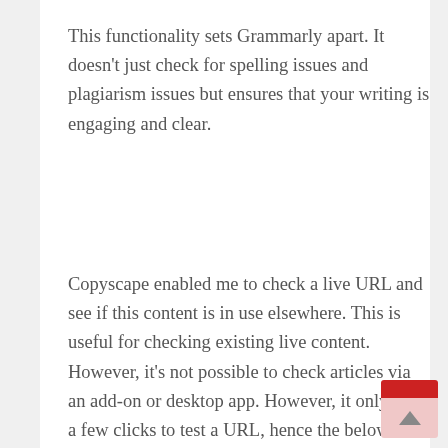This functionality sets Grammarly apart. It doesn't just check for spelling issues and plagiarism issues but ensures that your writing is engaging and clear.
Copyscape enabled me to check a live URL and see if this content is in use elsewhere. This is useful for checking existing live content. However, it's not possible to check articles via an add-on or desktop app. However, it only takes a few clicks to test a URL, hence the below result.